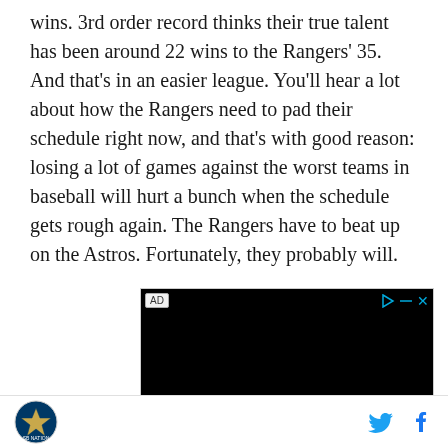wins. 3rd order record thinks their true talent has been around 22 wins to the Rangers' 35. And that's in an easier league. You'll hear a lot about how the Rangers need to pad their schedule right now, and that's with good reason: losing a lot of games against the worst teams in baseball will hurt a bunch when the schedule gets rough again. The Rangers have to beat up on the Astros. Fortunately, they probably will.
[Figure (other): Black video ad player with AD label in top-left corner and play/close controls in top-right corner]
SB Nation logo | Twitter share icon | Facebook share icon